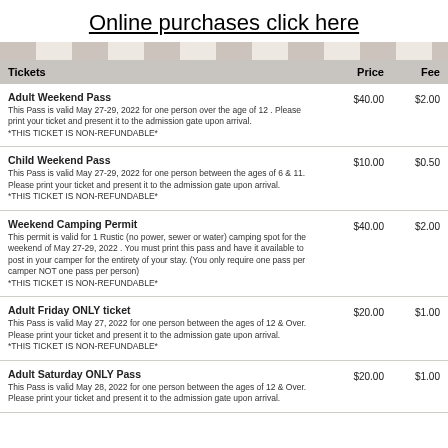Online purchases click here
| Tickets | Price | Fee |
| --- | --- | --- |
| Adult Weekend Pass
This Pass is valid May 27-29, 2022 for one person over the age of 12. Please print your ticket and present it to the admission gate upon arrival.
*THIS TICKET IS NON-REFUNDABLE* | $40.00 | $2.00 |
| Child Weekend Pass
This Pass is valid May 27-29, 2022 for one person between the ages of 6 & 11. Please print your ticket and present it to the admission gate upon arrival.
*THIS TICKET IS NON-REFUNDABLE* | $10.00 | $0.50 |
| Weekend Camping Permit
This permit is valid for 1 Rustic (no power, sewer or water) camping spot for the weekend of May 27-29, 2022. You must print this pass and have it available to post in your camper for the entirety of your stay. (You only require one pass per camper NOT one pass per person)
*THIS TICKET IS NON-REFUNDABLE* | $40.00 | $2.00 |
| Adult Friday ONLY ticket
This Pass is valid May 27, 2022 for one person between the ages of 12 & Over. Please print your ticket and present it to the admission gate upon arrival.
*THIS TICKET IS NON-REFUNDABLE* | $20.00 | $1.00 |
| Adult Saturday ONLY Pass
This Pass is valid May 28, 2022 for one person between the ages of 12 & Over. Please print your ticket and present it to the admission gate upon arrival. | $20.00 | $1.00 |